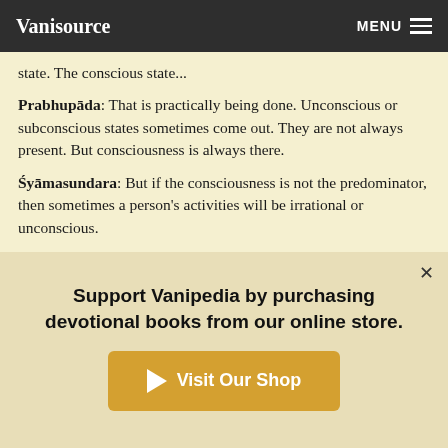Vanisource | MENU
state. The conscious state...
Prabhupāda: That is practically being done. Unconscious or subconscious states sometimes come out. They are not always present. But consciousness is always there.
Śyāmasundara: But if the consciousness is not the predominator, then sometimes a person's activities will be irrational or unconscious.
Prabhupāda: No. There is no question of unconscious. Subconscious, that is there. Yes.
Devotee (3): What is the exact meaning of the term
Support Vanipedia by purchasing devotional books from our online store.
Visit Our Shop